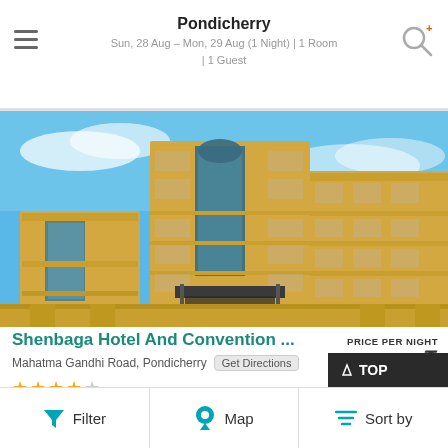Pondicherry
Sun, 28 Aug – Mon, 29 Aug (1 Night) | 1 Room | 1 Guest
[Figure (photo): Photo of Shenbaga Hotel And Convention Centre, a large multi-storey yellow building with glass facade under blue sky]
Shenbaga Hotel And Convention ...
PRICE PER NIGHT
Mahatma Gandhi Road, Pondicherry
Get Directions
★★★★☆
TOP
Choose Dates
Filter
Map
Sort by